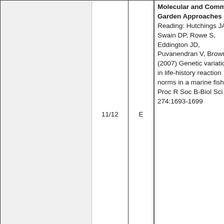|  | 11/12 | E | Molecular and Common Garden Approaches Reading: Hutchings JA, Swain DP, Rowe S, Eddington JD, Puvanendran V, Brown JA (2007) Genetic variation in life-history reaction norms in a marine fish. Proc R Soc B-Biol Sci 274:1693-1699 | Heid |